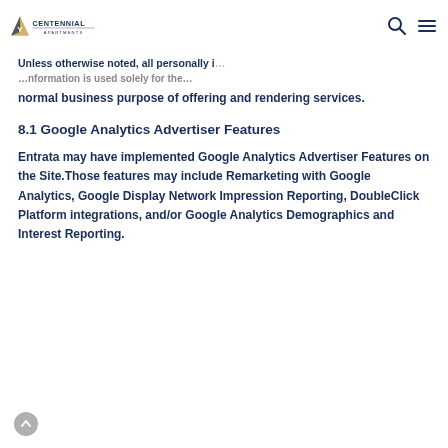Centennial Apartments
Unless otherwise noted, all personally identifiable information is used solely for the normal business purpose of offering and rendering services.
8.1 Google Analytics Advertiser Features
Entrata may have implemented Google Analytics Advertiser Features on the Site.Those features may include Remarketing with Google Analytics, Google Display Network Impression Reporting, DoubleClick Platform integrations, and/or Google Analytics Demographics and Interest Reporting.